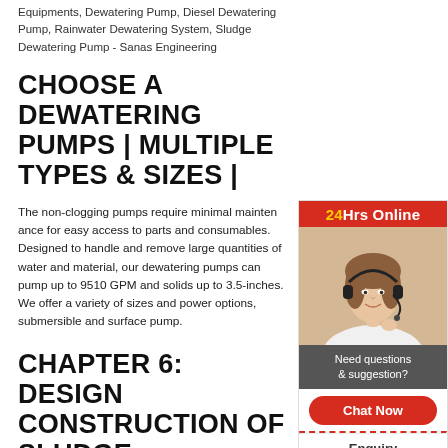Equipments, Dewatering Pump, Diesel Dewatering Pump, Rainwater Dewatering System, Sludge Dewatering Pump - Sanas Engineering
CHOOSE A DEWATERING PUMPS | MULTIPLE TYPES & SIZES |
The non-clogging pumps require minimal maintenance for easy access to parts and consumables. Designed to handle and remove large quantities of water and material, our dewatering pumps can pump up to 9510 GPM and solids up to 3.5-inches. We offer a variety of sizes and power options, submersible and surface pump.
CHAPTER 6: DESIGN AND CONSTRUCTION OF SLUDGE
[Figure (illustration): Customer service widget with orange/red header reading '24Hrs Online', photo of a woman wearing a headset, dark grey section reading 'Need questions & suggestion?', red Chat Now button, Enquiry link, and limingjlmofen text]